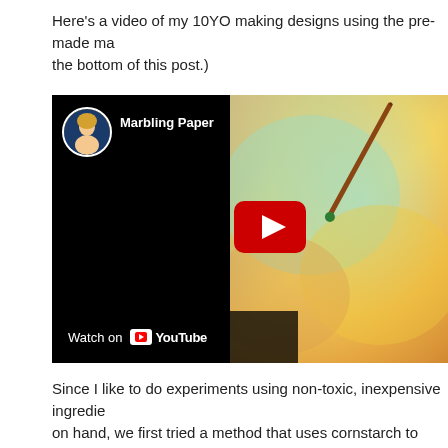Here's a video of my 10YO making designs using the pre-made ma... the bottom of this post.)
[Figure (screenshot): YouTube video thumbnail showing a person marbling paper with a brush on a colorful surface. Title reads 'Marbling Paper'. Includes YouTube Watch on button and channel avatar.]
Since I like to do experiments using non-toxic, inexpensive ingredie... on hand, we first tried a method that uses cornstarch to thicken the...